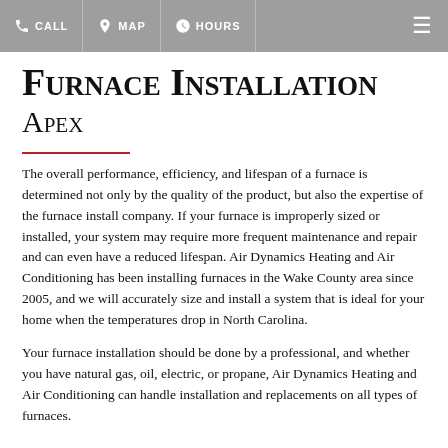CALL  MAP  HOURS
Furnace Installation Apex
The overall performance, efficiency, and lifespan of a furnace is determined not only by the quality of the product, but also the expertise of the furnace install company. If your furnace is improperly sized or installed, your system may require more frequent maintenance and repair and can even have a reduced lifespan. Air Dynamics Heating and Air Conditioning has been installing furnaces in the Wake County area since 2005, and we will accurately size and install a system that is ideal for your home when the temperatures drop in North Carolina.
Your furnace installation should be done by a professional, and whether you have natural gas, oil, electric, or propane, Air Dynamics Heating and Air Conditioning can handle installation and replacements on all types of furnaces.